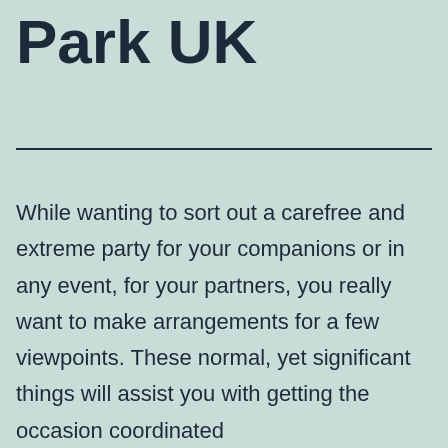Park UK
While wanting to sort out a carefree and extreme party for your companions or in any event, for your partners, you really want to make arrangements for a few viewpoints. These normal, yet significant things will assist you with getting the occasion coordinated